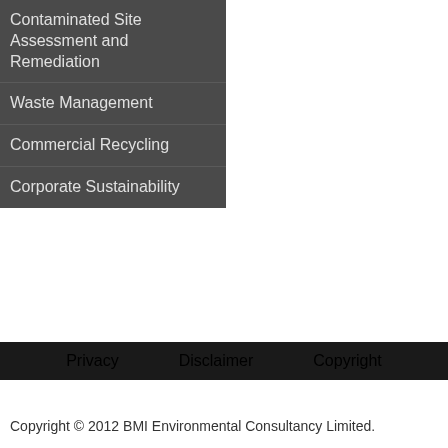Contaminated Site Assessment and Remediation
Waste Management
Commercial Recycling
Corporate Sustainability
Privacy   Disclaimer   Copyright
Copyright © 2012 BMI Environmental Consultancy Limited.